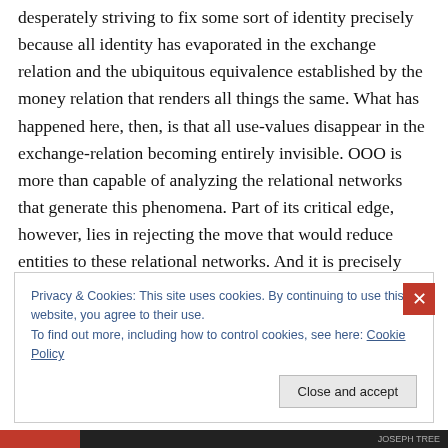desperately striving to fix some sort of identity precisely because all identity has evaporated in the exchange relation and the ubiquitous equivalence established by the money relation that renders all things the same. What has happened here, then, is that all use-values disappear in the exchange-relation becoming entirely invisible. OOO is more than capable of analyzing the relational networks that generate this phenomena. Part of its critical edge, however, lies in rejecting the move that would reduce entities to these relational networks. And it is precisely because it argues for an excess of entity over these
Privacy & Cookies: This site uses cookies. By continuing to use this website, you agree to their use.
To find out more, including how to control cookies, see here: Cookie Policy
Close and accept